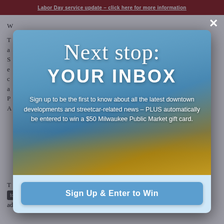Labor Day service update – click here for more information
W...
T... a... S... e... c... a... P... A...
[Figure (photo): Modal popup overlay on a transit agency website. The modal shows a blurred motion photo of a streetcar or light rail vehicle in an urban setting. The modal contains text 'Next stop: YOUR INBOX' and a subscription call-to-action with a button.]
Sign up to be the first to know about all the latest downtown developments and streetcar-related news – PLUS automatically be entered to win a $50 Milwaukee Public Market gift card.
Sign Up & Enter to Win
the first to beginning engineering the environmental work on an additional 2.4 miles of track to extend this to. P... will... n... th... W...